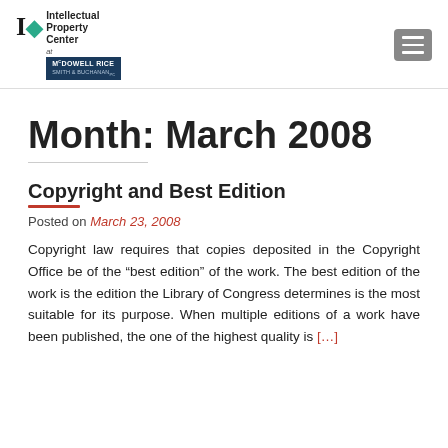Intellectual Property Center at McDowell Rice Smith & Buchanan
Month: March 2008
Copyright and Best Edition
Posted on March 23, 2008
Copyright law requires that copies deposited in the Copyright Office be of the “best edition” of the work. The best edition of the work is the edition the Library of Congress determines is the most suitable for its purpose. When multiple editions of a work have been published, the one of the highest quality is [...]